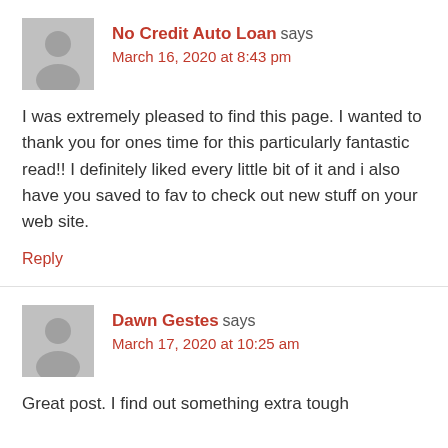No Credit Auto Loan says
March 16, 2020 at 8:43 pm
I was extremely pleased to find this page. I wanted to thank you for ones time for this particularly fantastic read!! I definitely liked every little bit of it and i also have you saved to fav to check out new stuff on your web site.
Reply
Dawn Gestes says
March 17, 2020 at 10:25 am
Great post. I find out something extra tough